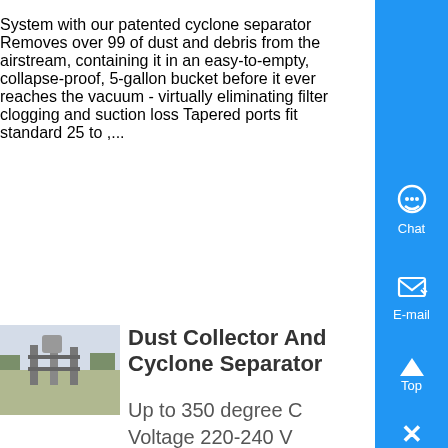System with our patented cyclone separator Removes over 99 of dust and debris from the airstream, containing it in an easy-to-empty, collapse-proof, 5-gallon bucket before it ever reaches the vacuum - virtually eliminating filter clogging and suction loss Tapered ports fit standard 25 to ,...
Know More
[Figure (photo): Photo of industrial dust collector and cyclone separator equipment outdoors]
Dust Collector And Cyclone Separator
Up to 350 degree C Voltage 220-240 V Frequency 50-60 Hz We are offering Cyclone Separator to our client Cyclones are mechanical separators using centrifugal force to remove